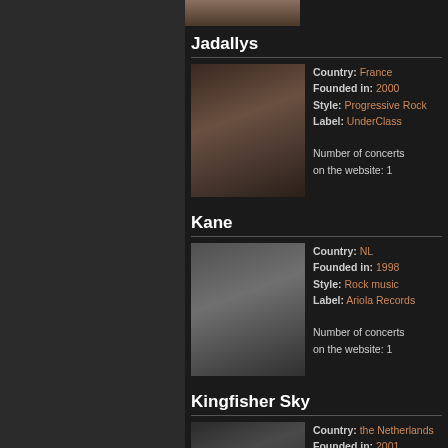[Figure (photo): Band photo strip at top of page]
Jadallys
Country: France
Founded in: 2000
Style: Progressive Rock
Label: UnderClass

Number of concerts on the website: 1
[Figure (photo): Jadallys band photo - group of musicians in dark setting]
Kane
Country: NL
Founded in: 1998
Style: Rock music
Label: Ariola Records

Number of concerts on the website: 1
[Figure (photo): Kane band photo - black and white group photo]
Kingfisher Sky
Country: the Netherlands
Founded in: 2001
Style: Progressive/Folk Rock
Label: Suburban Records

Number of concerts
[Figure (photo): Kingfisher Sky band photo]